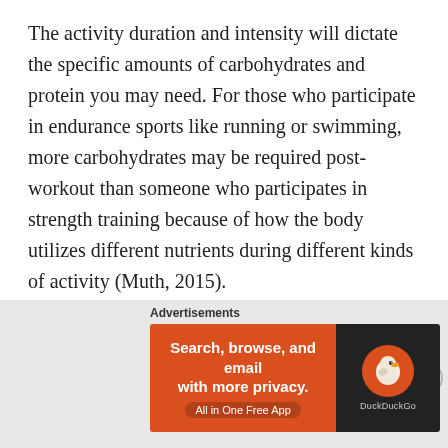The activity duration and intensity will dictate the specific amounts of carbohydrates and protein you may need. For those who participate in endurance sports like running or swimming, more carbohydrates may be required post-workout than someone who participates in strength training because of how the body utilizes different nutrients during different kinds of activity (Muth, 2015).
For athletes who train vigorously or train multiple sessions a day like a triathlete, a strategic schedule that includes timed snacks and meals pre-, intra- and post-workout may be helpful (Muth, 2015).
I've worked with a few clients who participate in total body
[Figure (screenshot): DuckDuckGo advertisement banner: orange left panel with text 'Search, browse, and email with more privacy. All in One Free App' and dark right panel with DuckDuckGo logo]